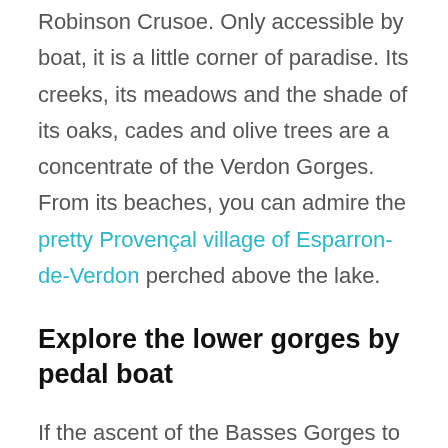Robinson Crusoe. Only accessible by boat, it is a little corner of paradise. Its creeks, its meadows and the shade of its oaks, cades and olive trees are a concentrate of the Verdon Gorges. From its beaches, you can admire the pretty Provençal village of Esparron-de-Verdon perched above the lake.
Explore the lower gorges by pedal boat
If the ascent of the Basses Gorges to